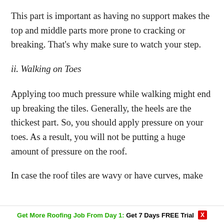This part is important as having no support makes the top and middle parts more prone to cracking or breaking. That's why make sure to watch your step.
ii. Walking on Toes
Applying too much pressure while walking might end up breaking the tiles. Generally, the heels are the thickest part. So, you should apply pressure on your toes. As a result, you will not be putting a huge amount of pressure on the roof.
In case the roof tiles are wavy or have curves, make
Get More Roofing Job From Day 1: Get 7 Days FREE Trial  X